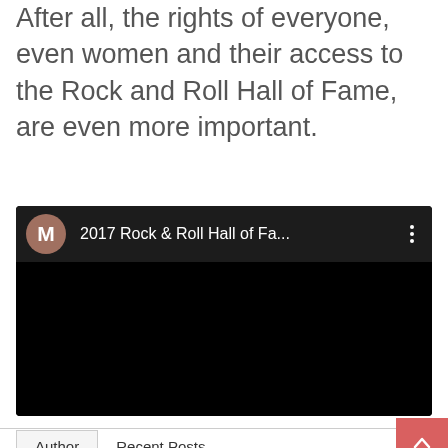After all, the rights of everyone, even women and their access to the Rock and Roll Hall of Fame, are even more important.
[Figure (screenshot): Embedded video player showing '2017 Rock & Roll Hall of Fa...' with a dark/black video body, a user avatar circle with letter M, and a three-dot menu icon.]
Author	Recent Posts
Michelle Topham
Founder/CEO at Leo Sigh